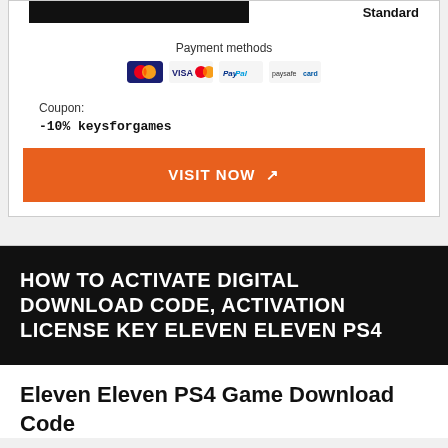Standard
Payment methods
[Figure (other): Payment method icons: Maestro, Visa/Mastercard, PayPal, paysafe]
Coupon:
-10% keysforgames
VISIT NOW ↗
HOW TO ACTIVATE DIGITAL DOWNLOAD CODE, ACTIVATION LICENSE KEY ELEVEN ELEVEN PS4
Eleven Eleven PS4 Game Download Code